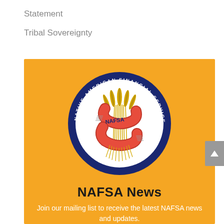Statement
Tribal Sovereignty
[Figure (logo): NAFSA Native American Financial Services Association circular logo with feathers and red ribbon on orange background]
NAFSA News
Join our mailing list to receive the latest NAFSA news and updates.